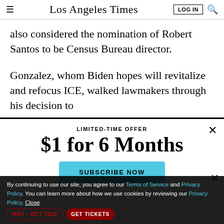Los Angeles Times
also considered the nomination of Robert Santos to be Census Bureau director.
Gonzalez, whom Biden hopes will revitalize and refocus ICE, walked lawmakers through his decision to
LIMITED-TIME OFFER
$1 for 6 Months
SUBSCRIBE NOW
By continuing to use our site, you agree to our Terms of Service and Privacy Policy. You can learn more about how we use cookies by reviewing our Privacy Policy. Close